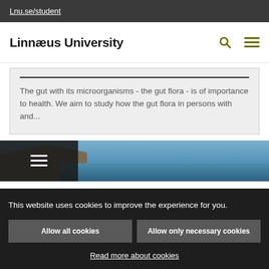Lnu.se/student
Linnæus University
The gut with its microorganisms - the gut flora - is of importance to health. We aim to study how the gut flora in persons with and...
[Figure (photo): Coastal scene with rocky shoreline and water, overlaid with a dark menu icon panel on the left]
This website uses cookies to improve the experience for you.
Allow all cookies
Allow only necessary cookies
Read more about cookies